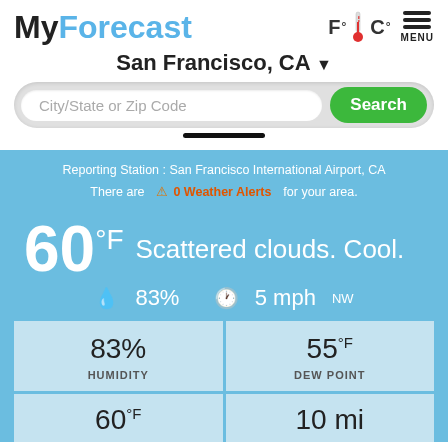MyForecast
F° C° MENU
San Francisco, CA ▼
City/State or Zip Code  Search
Reporting Station : San Francisco International Airport, CA
There are  ⚠ 0 Weather Alerts  for your area.
60°F  Scattered clouds. Cool.
💧 83%   🕐 5 mph NW
|  |  |
| --- | --- |
| 83%
HUMIDITY | 55°F
DEW POINT |
| 60°F | 10 mi |